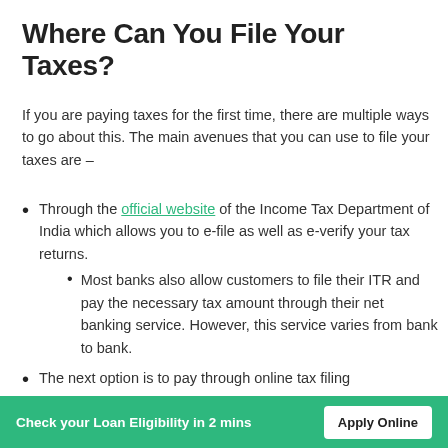Where Can You File Your Taxes?
If you are paying taxes for the first time, there are multiple ways to go about this. The main avenues that you can use to file your taxes are –
Through the official website of the Income Tax Department of India which allows you to e-file as well as e-verify your tax returns.
Most banks also allow customers to file their ITR and pay the necessary tax amount through their net banking service. However, this service varies from bank to bank.
The next option is to pay through online tax filing
Check your Loan Eligibility in 2 mins   Apply Online